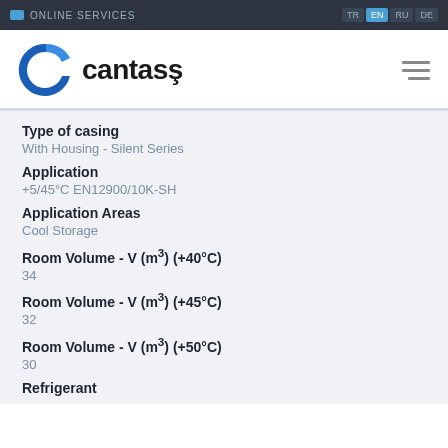ONLINE SERVICES  TR  EN  RU  DE
[Figure (logo): Cantaş company logo — blue C symbol with the word cantaş in bold dark text]
Type of casing
With Housing - Silent Series
Application
+5/45°C EN12900/10K-SH
Application Areas
Cool Storage
Room Volume - V (m³) (+40°C)
34
Room Volume - V (m³) (+45°C)
32
Room Volume - V (m³) (+50°C)
30
Refrigerant